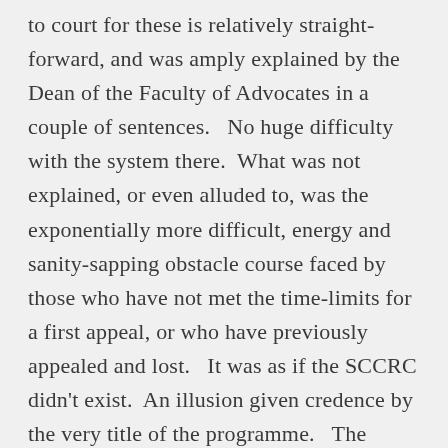to court for these is relatively straight-forward, and was amply explained by the Dean of the Faculty of Advocates in a couple of sentences.   No huge difficulty with the system there.  What was not explained, or even alluded to, was the exponentially more difficult, energy and sanity-sapping obstacle course faced by those who have not met the time-limits for a first appeal, or who have previously appealed and lost.   It was as if the SCCRC didn't exist.  An illusion given credence by the very title of the programme.   The reality, of course, is that many who are ultimately proved to have been innocent require more than one visit to the Appeal Court.